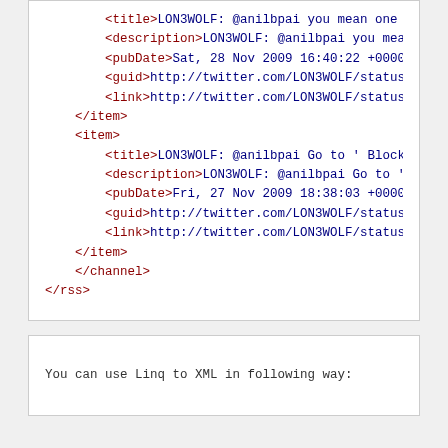[Figure (screenshot): XML/RSS code snippet showing two <item> elements with title, description, pubDate, guid, and link child elements, followed by closing </item>, </channel>, and </rss> tags. Tags are in dark red, values in dark blue monospace font on white background.]
You can use Linq to XML in following way: